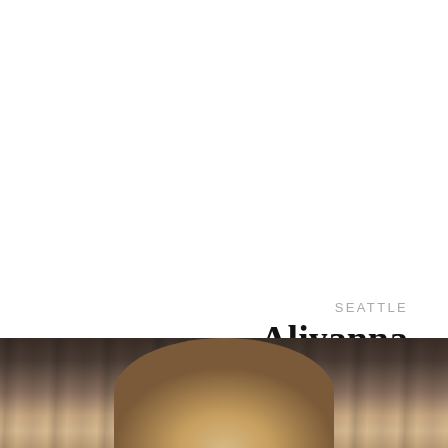SEATTLE
Aliyanna
DATING PORNSTAR
[Figure (photo): Partial portrait photo of a blonde woman against a dark wood-like background, cropped to show only the top of the head at the bottom of the page.]